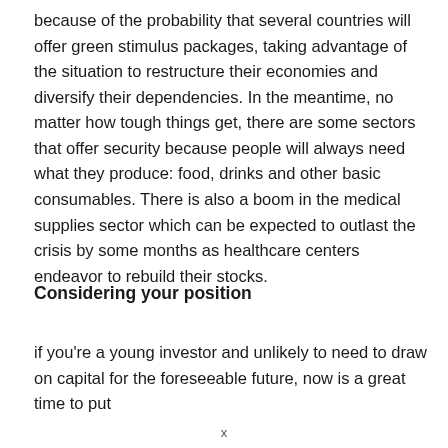because of the probability that several countries will offer green stimulus packages, taking advantage of the situation to restructure their economies and diversify their dependencies. In the meantime, no matter how tough things get, there are some sectors that offer security because people will always need what they produce: food, drinks and other basic consumables. There is also a boom in the medical supplies sector which can be expected to outlast the crisis by some months as healthcare centers endeavor to rebuild their stocks.
Considering your position
if you're a young investor and unlikely to need to draw on capital for the foreseeable future, now is a great time to put
x